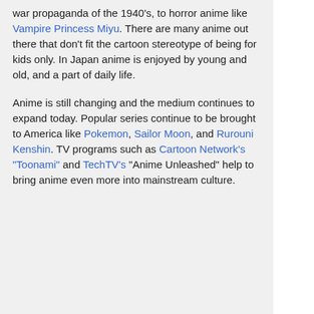war propaganda of the 1940's, to horror anime like Vampire Princess Miyu. There are many anime out there that don't fit the cartoon stereotype of being for kids only. In Japan anime is enjoyed by young and old, and a part of daily life.
Anime is still changing and the medium continues to expand today. Popular series continue to be brought to America like Pokemon, Sailor Moon, and Rurouni Kenshin. TV programs such as Cartoon Network's "Toonami" and TechTV's "Anime Unleashed" help to bring anime even more into mainstream culture.